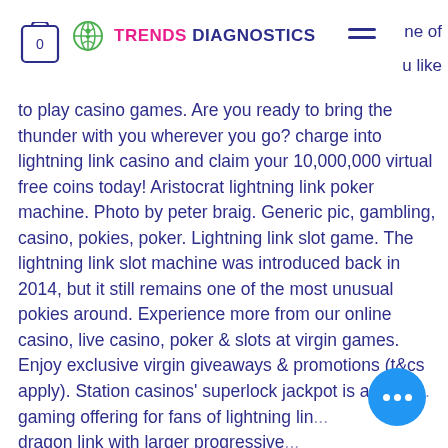TRENDS DIAGNOSTICS
ne of ɑ like to play casino games. Are you ready to bring the thunder with you wherever you go? charge into lightning link casino and claim your 10,000,000 virtual free coins today! Aristocrat lightning link poker machine. Photo by peter braig. Generic pic, gambling, casino, pokies, poker. Lightning link slot game. The lightning link slot machine was introduced back in 2014, but it still remains one of the most unusual pokies around. Experience more from our online casino, live casino, poker &amp; slots at virgin games. Enjoy exclusive virgin giveaways &amp; promotions (t&amp;cs apply). Station casinos' superlock jackpot is an excl... gaming offering for fans of lightning lin... dragon link with larger progressive...